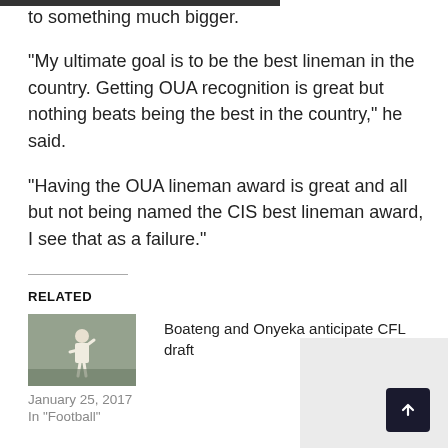to something much bigger.
“My ultimate goal is to be the best lineman in the country. Getting OUA recognition is great but nothing beats being the best in the country,” he said.
“Having the OUA lineman award is great and all but not being named the CIS best lineman award, I see that as a failure.”
RELATED
[Figure (photo): Outdoor sports photo, appears to show a person in white uniform with arm raised]
Boateng and Onyeka anticipate CFL draft
January 25, 2017
In “Football”